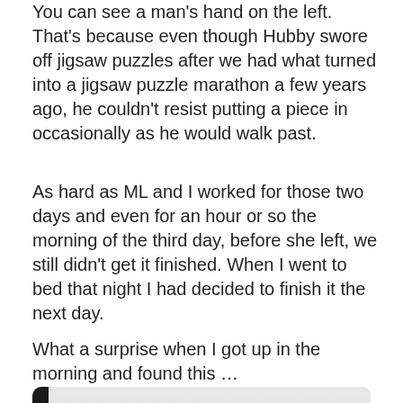You can see a man's hand on the left.  That's because even though Hubby swore off jigsaw puzzles after we had what turned into a jigsaw puzzle marathon a few years ago, he couldn't resist putting a piece in occasionally as he would walk past.
As hard as ML and I worked for those two days and even for an hour or so the morning of the third day, before she left, we still didn't get it finished.  When I went to bed that night I had decided to finish it the next day.
What a surprise when I got up in the morning and found this …
[Figure (photo): A photograph showing a completed or near-completed jigsaw puzzle of a colorful garden scene with trees, flowers, and buildings, laid out on a white puzzle board. A dark sleeve is visible on the left edge.]